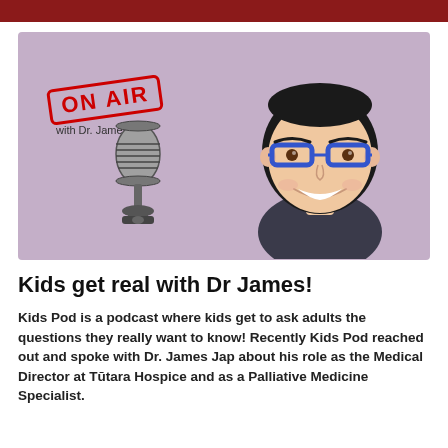[Figure (illustration): Podcast artwork showing 'ON AIR with Dr. James' stamp on a purple/mauve background, with a vintage microphone and a cartoon illustration of Dr. James Jap wearing blue glasses and a dark shirt.]
Kids get real with Dr James!
Kids Pod is a podcast where kids get to ask adults the questions they really want to know! Recently Kids Pod reached out and spoke with Dr. James Jap about his role as the Medical Director at Tūtara Hospice and as a Palliative Medicine Specialist.